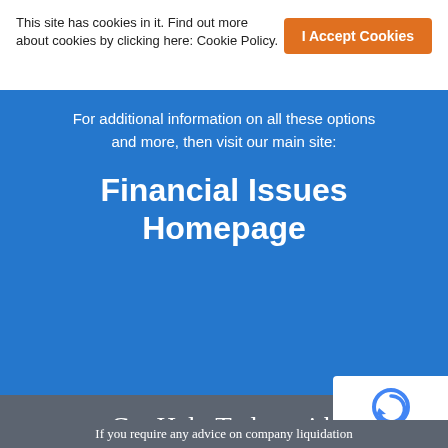This site has cookies in it. Find out more about cookies by clicking here: Cookie Policy.
I Accept Cookies
For additional information on all these options and more, then visit our main site:
Financial Issues Homepage
Get Help Today with Financial Issues
If you require any advice on company liquidation